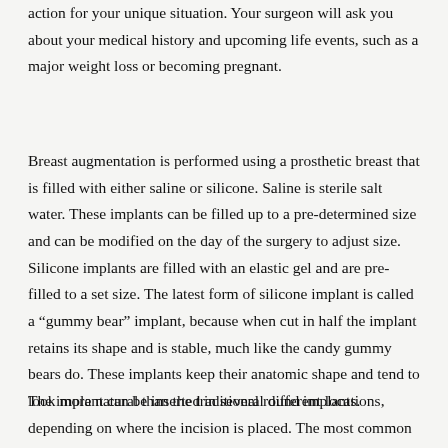action for your unique situation. Your surgeon will ask you about your medical history and upcoming life events, such as a major weight loss or becoming pregnant.
Breast augmentation is performed using a prosthetic breast that is filled with either saline or silicone. Saline is sterile salt water. These implants can be filled up to a pre-determined size and can be modified on the day of the surgery to adjust size. Silicone implants are filled with an elastic gel and are pre-filled to a set size. The latest form of silicone implant is called a “gummy bear” implant, because when cut in half the implant retains its shape and is stable, much like the candy gummy bears do. These implants keep their anatomic shape and tend to look more natural than the traditional round implants.
The implant can be inserted in several different locations, depending on where the incision is placed. The most common